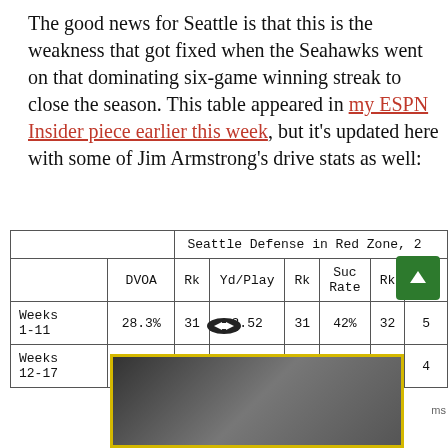The good news for Seattle is that this is the weakness that got fixed when the Seahawks went on that dominating six-game winning streak to close the season. This table appeared in my ESPN Insider piece earlier this week, but it's updated here with some of Jim Armstrong's drive stats as well:
|  | DVOA | Rk | Yd/Play | Rk | Suc Rate | Rk | Pts |
| --- | --- | --- | --- | --- | --- | --- | --- |
| Weeks 1-11 | 28.3% | 31 | 3.52 | 31 | 42% | 32 | 5 |
| Weeks 12-17 | -51.5% | 4 | 2.22 | 6 | 70% | 5 | 4 |
[Figure (photo): Partially visible image at bottom of page with yellow border]